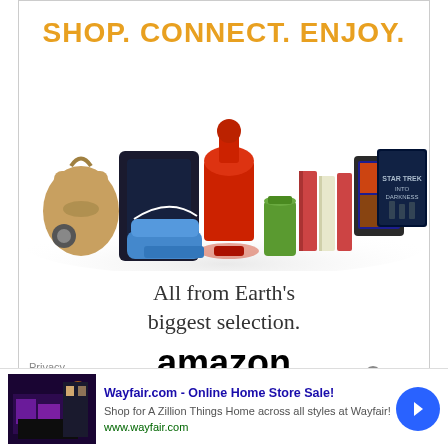[Figure (advertisement): Amazon advertisement with headline 'SHOP. CONNECT. ENJOY.' showing products including handbag, PlayStation 4, KitchenAid mixer, sneakers, drink, books, Kindle, movie, with tagline 'All from Earth's biggest selection.' and Amazon logo with arrow]
Privacy
[Figure (advertisement): Wayfair.com online home store sale advertisement with thumbnail image showing a purple/dark room scene]
Wayfair.com - Online Home Store Sale!
Shop for A Zillion Things Home across all styles at Wayfair!
www.wayfair.com